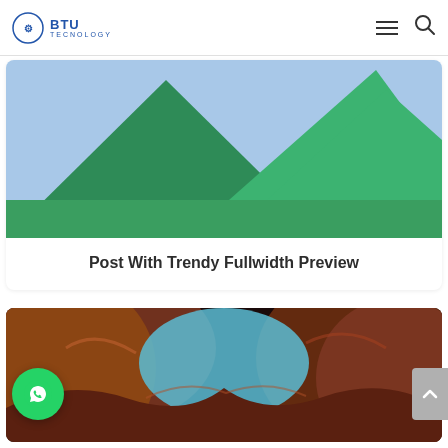BTU TECNOLOGY
[Figure (illustration): Abstract geometric illustration with green triangular mountain shapes on a light blue background]
Post With Trendy Fullwidth Preview
[Figure (photo): Photo of red and orange canyon rock formations with a narrow opening revealing blue sky, resembling Antelope Canyon]